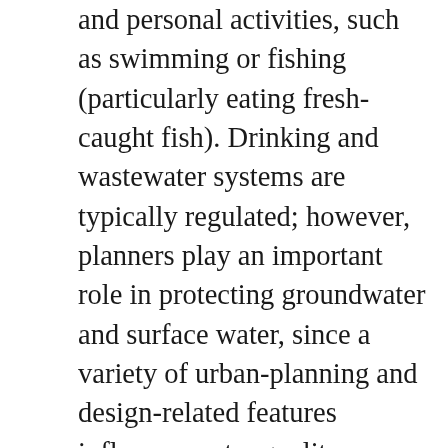and personal activities, such as swimming or fishing (particularly eating fresh-caught fish). Drinking and wastewater systems are typically regulated; however, planners play an important role in protecting groundwater and surface water, since a variety of urban-planning and design-related features influence water quality, including the use of septic systems, management of wastewater services, location of storm sewers, disposal of toxic wastes and other pollutants, and level of runoff caused by urban development.
Design for Health (DFH) Materials
Planning Information Sheet: Influencing Water Quality with Comprehensive Planning